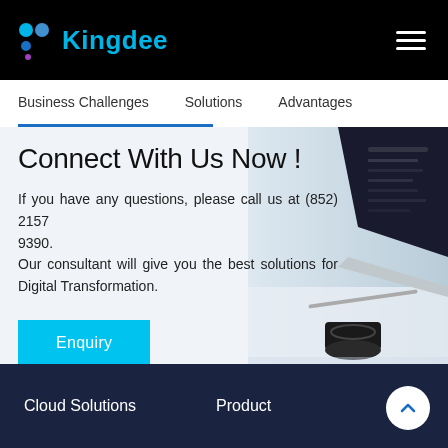Kingdee
Business Challenges    Solutions    Advantages
Connect With Us Now !
If you have any questions, please call us at (852) 2157 9390.
Our consultant will give you the best solutions for Digital Transformation.
[Figure (photo): Laptop and Bluetooth speaker on a desk, with a dark background screen showing a dashboard interface]
Enquiry
Cloud Solutions    Product